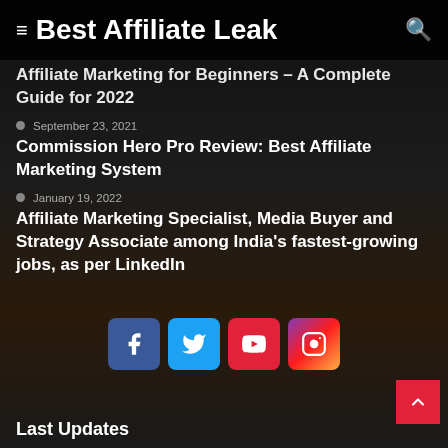Best Affiliate Leak
Affiliate Marketing for Beginners – A Complete Guide for 2022
September 23, 2021
Commission Hero Pro Review: Best Affiliate Marketing System
January 19, 2022
Affiliate Marketing Specialist, Media Buyer and Strategy Associate among India's fastest-growing jobs, as per LinkedIn
[Figure (infographic): Social media icons: Facebook (blue), Twitter (cyan), YouTube (red), Instagram (purple-pink gradient)]
Last Updates